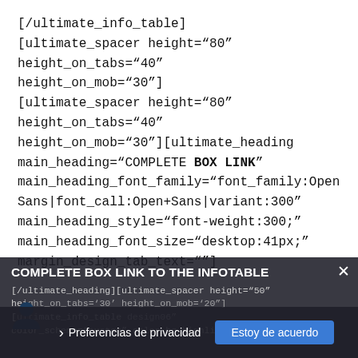[/ultimate_info_table]
[ultimate_spacer height="80" height_on_tabs="40" height_on_mob="30"]
[ultimate_spacer height="80" height_on_tabs="40" height_on_mob="30"][ultimate_heading main_heading="COMPLETE BOX LINK" main_heading_font_family="font_family:Open Sans|font_call:Open+Sans|variant:300" main_heading_style="font-weight:300;" main_heading_font_size="desktop:41px;" margin_design_tab_text=""]
COMPLETE BOX LINK TO THE INFOTABLE
[/ultimate_heading][ultimate_spacer height="50" height_on_tabs="30" height_on_mob="20"]
[ultimate_info_table design06" color_scheme="custom" color_bg_highlight="#fef54"
Preferencias de privacidad
Estoy de acuerdo